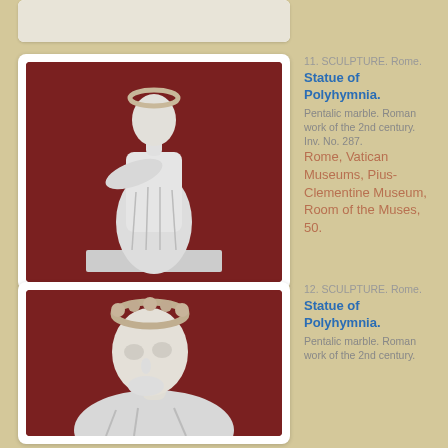[Figure (photo): Partial view of a sculpture photo, top of page (cut off)]
[Figure (photo): Statue of Polyhymnia, full length marble sculpture against dark red background, Roman work, Vatican Museums]
11. SCULPTURE. Rome. Statue of Polyhymnia. Pentalic marble. Roman work of the 2nd century. Inv. No. 287. Rome, Vatican Museums, Pius-Clementine Museum, Room of the Muses, 50.
[Figure (photo): Statue of Polyhymnia, head and shoulders close-up, marble sculpture against dark red background]
12. SCULPTURE. Rome. Statue of Polyhymnia. Pentalic marble. Roman work of the 2nd century.